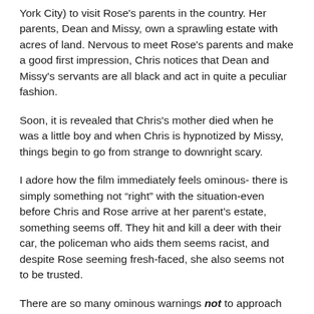York City) to visit Rose's parents in the country. Her parents, Dean and Missy, own a sprawling estate with acres of land. Nervous to meet Rose's parents and make a good first impression, Chris notices that Dean and Missy's servants are all black and act in quite a peculiar fashion.
Soon, it is revealed that Chris's mother died when he was a little boy and when Chris is hypnotized by Missy, things begin to go from strange to downright scary.
I adore how the film immediately feels ominous- there is simply something not “right” with the situation-even before Chris and Rose arrive at her parent’s estate, something seems off. They hit and kill a deer with their car, the policeman who aids them seems racist, and despite Rose seeming fresh-faced, she also seems not to be trusted.
There are so many ominous warnings not to approach her parent’s house, that when they finally do arrive the audience is